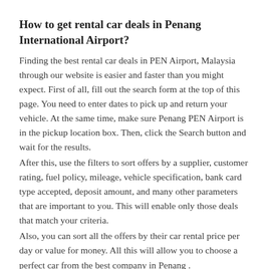How to get rental car deals in Penang International Airport?
Finding the best rental car deals in PEN Airport, Malaysia through our website is easier and faster than you might expect. First of all, fill out the search form at the top of this page. You need to enter dates to pick up and return your vehicle. At the same time, make sure Penang PEN Airport is in the pickup location box. Then, click the Search button and wait for the results.
After this, use the filters to sort offers by a supplier, customer rating, fuel policy, mileage, vehicle specification, bank card type accepted, deposit amount, and many other parameters that are important to you. This will enable only those deals that match your criteria.
Also, you can sort all the offers by their car rental price per day or value for money. All this will allow you to choose a perfect car from the best company in Penang .